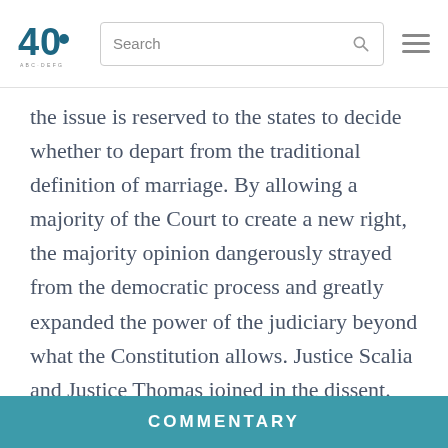40 [logo] Search [hamburger menu]
the issue is reserved to the states to decide whether to depart from the traditional definition of marriage. By allowing a majority of the Court to create a new right, the majority opinion dangerously strayed from the democratic process and greatly expanded the power of the judiciary beyond what the Constitution allows. Justice Scalia and Justice Thomas joined in the dissent.
COMMENTARY